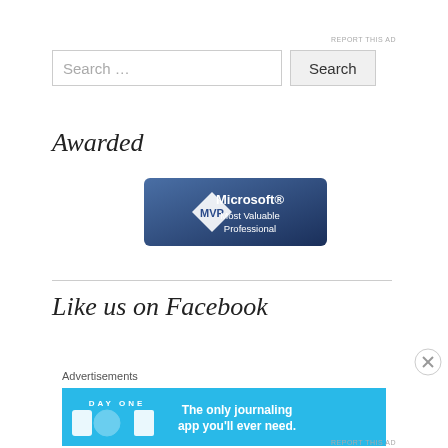REPORT THIS AD
[Figure (screenshot): Search bar with placeholder text 'Search ...' and a Search button]
Awarded
[Figure (logo): Microsoft MVP - Most Valuable Professional badge/logo with dark blue background and diamond shape]
Like us on Facebook
Advertisements
[Figure (screenshot): DAY ONE app advertisement - 'The only journaling app you'll ever need.' blue banner ad]
REPORT THIS AD